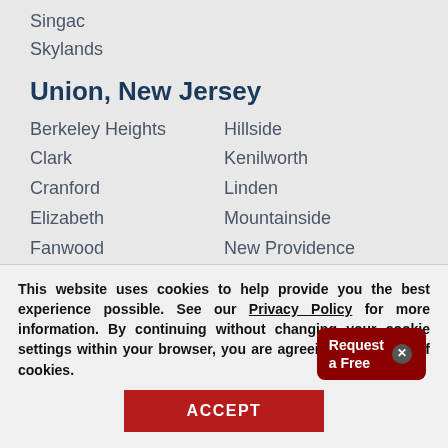Singac
Skylands
Union, New Jersey
Berkeley Heights
Hillside
Clark
Kenilworth
Cranford
Linden
Elizabeth
Mountainside
Fanwood
New Providence
Garwood
Plainfield
Rahway
Unio[n]
This website uses cookies to help provide you the best experience possible. See our Privacy Policy for more information. By continuing without changing your cookie settings within your browser, you are agreeing to our use of cookies.